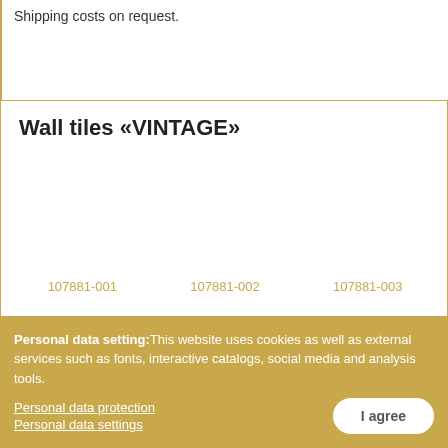Shipping costs on request.
Wall tiles «VINTAGE»
107881-001   107881-002   107881-003
Personal data setting: This website uses cookies as well as external services such as fonts, interactive catalogs, social media and analysis tools.
Personal data protection
Personal data settings
I agree